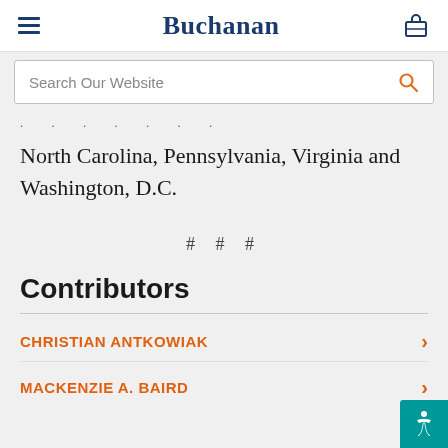Buchanan
North Carolina, Pennsylvania, Virginia and Washington, D.C.
# # #
Contributors
CHRISTIAN ANTKOWIAK
MACKENZIE A. BAIRD